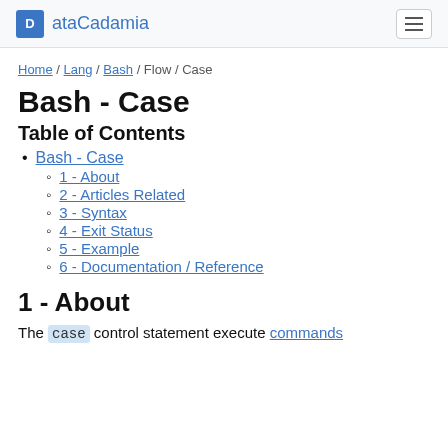ataCadamia
Home / Lang / Bash / Flow / Case
Bash - Case
Table of Contents
Bash - Case
1 - About
2 - Articles Related
3 - Syntax
4 - Exit Status
5 - Example
6 - Documentation / Reference
1 - About
The case control statement execute commands